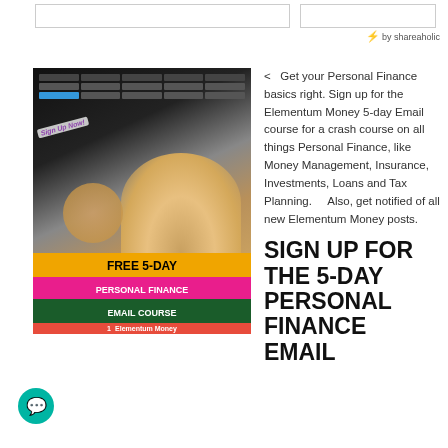[Figure (screenshot): Two rectangular placeholder boxes (share buttons) and 'by shareaholic' attribution with lightning bolt icon]
[Figure (photo): Advertisement image: calculator and coins photo with overlay banners reading 'Sign Up Now!', 'FREE 5-DAY', 'PERSONAL FINANCE', 'EMAIL COURSE', and 'Elementum Money' branding in red bar]
<   Get your Personal Finance basics right. Sign up for the Elementum Money 5-day Email course for a crash course on all things Personal Finance, like Money Management, Insurance, Investments, Loans and Tax Planning.    Also, get notified of all new Elementum Money posts.
SIGN UP FOR THE 5-DAY PERSONAL FINANCE EMAIL